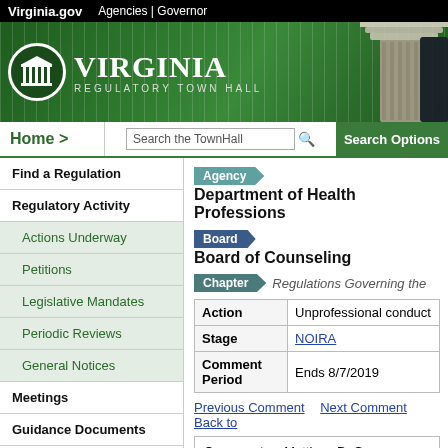Virginia.gov  Agencies | Governor
[Figure (logo): Virginia Regulatory Town Hall banner with green background and column capital image]
Home >  Search the TownHall  Search Options
Find a Regulation
Regulatory Activity
Actions Underway
Petitions
Legislative Mandates
Periodic Reviews
General Notices
Meetings
Guidance Documents
Agency
Department of Health Professions
Board
Board of Counseling
Chapter  Regulations Governing the
| Field | Value |
| --- | --- |
| Action | Unprofessional conduct |
| Stage | NOIRA |
| Comment Period | Ends 8/7/2019 |
Previous Comment   Next Comment   Back to
Commenter: Matthew DeGrave
Please help Ban conversion Therapy
Dear Virginia Board of Counseling,